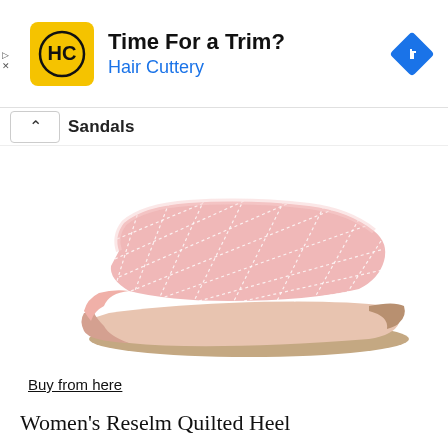[Figure (screenshot): Hair Cuttery advertisement banner with yellow HC logo, text 'Time For a Trim?' and 'Hair Cuttery' in blue, and a blue diamond navigation icon on the right]
Sandals
[Figure (photo): Pink quilted flat slide sandal (Women's Reselm Quilted Heel) on white background, showing diamond-pattern stitched strap and light brown flat sole]
Buy from here
Women's Reselm Quilted Heel